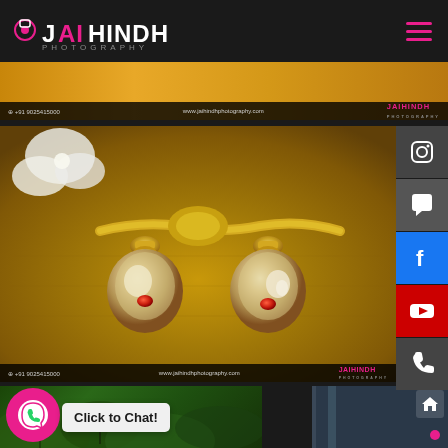Jai Hindh Photography - logo and navigation header
[Figure (photo): Top banner strip showing a warm golden/orange toned background with contact strip: +91 9025415000, www.jaihindhphotography.com, JAIHINDH logo]
[Figure (photo): Main close-up photograph of gold jewelry earrings/pendants on a textured golden-brown coconut fiber background. Two gold pendants with decorative tops and round mirror-like bases are tied with yellow thread.]
Click to Chat!
[Figure (photo): Bottom partial photo showing green foliage/tropical plant background, partially obscured by WhatsApp chat button]